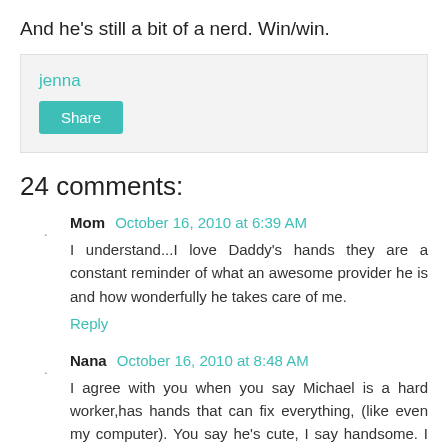And he's still a bit of a nerd. Win/win.
jenna
Share
24 comments:
Mom  October 16, 2010 at 6:39 AM
I understand...I love Daddy's hands they are a constant reminder of what an awesome provider he is and how wonderfully he takes care of me.
Reply
Nana  October 16, 2010 at 8:48 AM
I agree with you when you say Michael is a hard worker,has hands that can fix everything, (like even my computer). You say he's cute, I say handsome. I think he's just plain